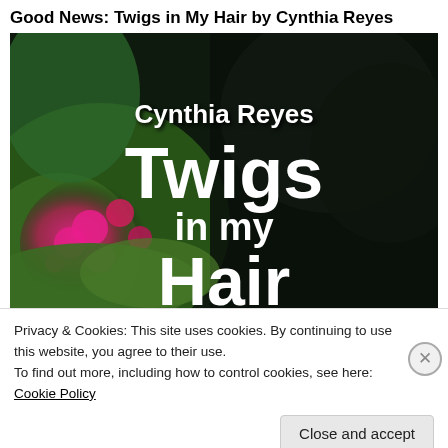Good News: Twigs in My Hair by Cynthia Reyes
[Figure (photo): Book cover of 'Twigs in My Hair' by Cynthia Reyes. Dark background of dense trees, with pink flowering shrubs on the left side. White bold text reads 'Cynthia Reyes' at top center, then large 'Twigs', 'in my', and 'Hair' below.]
Privacy & Cookies: This site uses cookies. By continuing to use this website, you agree to their use.
To find out more, including how to control cookies, see here: Cookie Policy
Close and accept